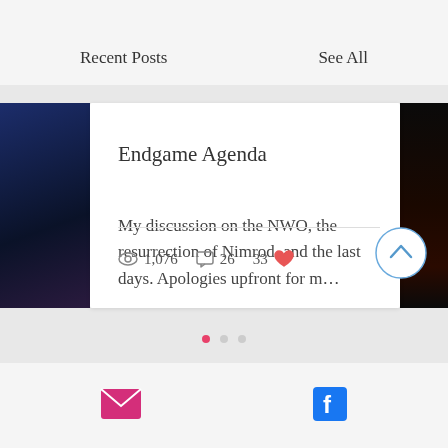Recent Posts
See All
Endgame Agenda
My discussion on the NWO, the resurrection of Nimrod, and the last days. Apologies upfront for m…
1,076  26  33
[Figure (illustration): Dark navy blue image strip on the left side of the card carousel]
[Figure (illustration): Dark reddish-black image strip on the right side of the card carousel]
[Figure (other): Three pagination dots: one active (pink/red) and two inactive (gray)]
[Figure (other): Email icon (envelope) in pink/magenta color in bottom navigation bar]
[Figure (logo): Facebook 'f' logo in blue in bottom navigation bar]